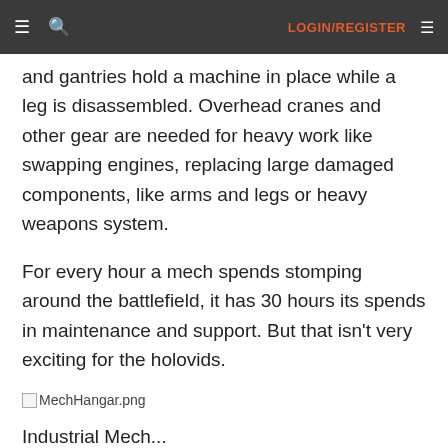≡ 🔍 LOGIN/REGISTER ≡
and gantries hold a machine in place while a leg is disassembled. Overhead cranes and other gear are needed for heavy work like swapping engines, replacing large damaged components, like arms and legs or heavy weapons system.
For every hour a mech spends stomping around the battlefield, it has 30 hours its spends in maintenance and support. But that isn't very exciting for the holovids.
[Figure (photo): MechHangar.png image placeholder]
Industrial Mech...